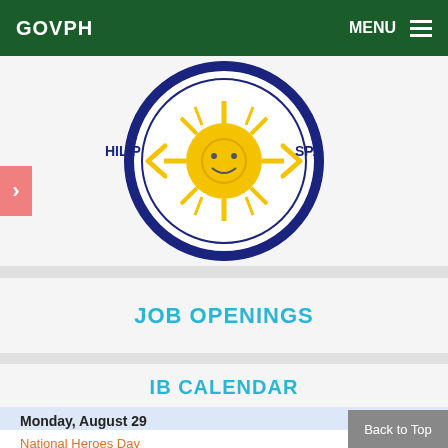GOVPH    MENU
[Figure (logo): Philippine government seal/logo showing a sun with rays and text HILIP and SPA around the circular border, in blue and yellow/gold colors]
JOB OPENINGS
IB CALENDAR
Monday, August 29
National Heroes Day
Tuesday, August 30